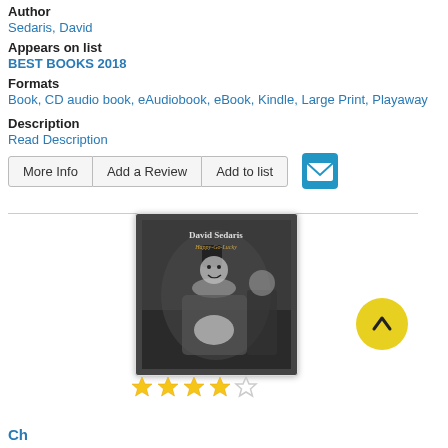Author
Sedaris, David
Appears on list
BEST BOOKS 2018
Formats
Book, CD audio book, eAudiobook, eBook, Kindle, Large Print, Playaway
Description
Read Description
More Info | Add a Review | Add to list
[Figure (photo): Book cover of 'Happy-Go-Lucky' by David Sedaris — black and white photo of a clown, a small dog, and a child]
★★★★☆ (4 out of 5 stars)
stub text / link at bottom